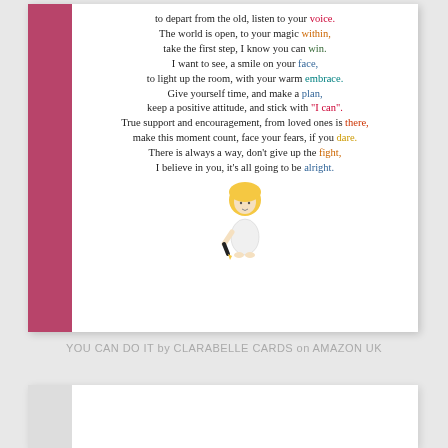[Figure (illustration): A greeting card with a pink/rose spine on the left side and poem text on the right. At the bottom of the card is a small illustration of a girl with blonde hair holding a pencil.]
to depart from the old, listen to your voice. The world is open, to your magic within, take the first step, I know you can win. I want to see, a smile on your face, to light up the room, with your warm embrace. Give yourself time, and make a plan, keep a positive attitude, and stick with "I can". True support and encouragement, from loved ones is there, make this moment count, face your fears, if you dare. There is always a way, don't give up the fight, I believe in you, it's all going to be alright.
YOU CAN DO IT by CLARABELLE CARDS on AMAZON UK